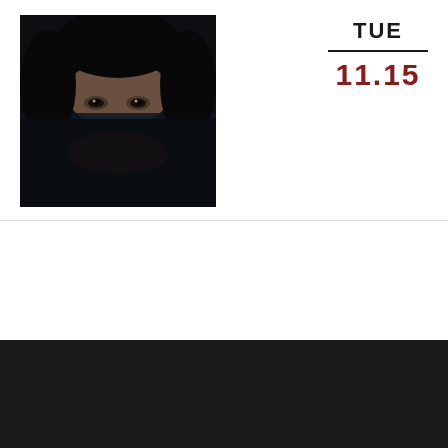[Figure (photo): Dark atmospheric photo of a person's face partially submerged in water, only eyes and forehead visible above the waterline]
TUE
11.15
LIVE NATION PRESENTS:
GHOSTLY KISSES
Richie Quake
SHOW: 8:00 AM
BUY TICKETS
We use cookies on our website to give you the most relevant experience by remembering your preferences and repeat visits. By clicking “Accept All”, you consent to the use of ALL the cookies. However, you may visit "Cookie Settings" to provide a controlled consent.
Cookie Settings
ACCEPT